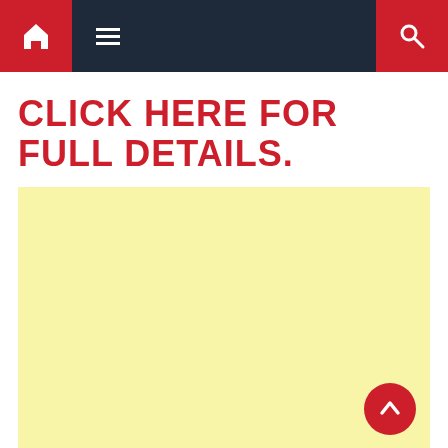Navigation bar with home, menu, and search icons
CLICK HERE FOR FULL DETAILS.
[Figure (other): Large pale yellow rectangle advertisement or content placeholder block, with a red circular back-to-top button in the bottom right corner]